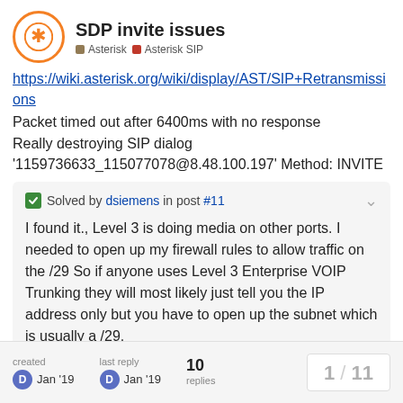SDP invite issues
Asterisk   Asterisk SIP
https://wiki.asterisk.org/wiki/display/AST/SIP+Retransmissions
Packet timed out after 6400ms with no response
Really destroying SIP dialog
'1159736633_115077078@8.48.100.197' Method: INVITE
Solved by dsiemens in post #11
I found it., Level 3 is doing media on other ports. I needed to open up my firewall rules to allow traffic on the /29 So if anyone uses Level 3 Enterprise VOIP Trunking they will most likely just tell you the IP address only but you have to open up the subnet which is usually a /29.
created Jan '19   last reply Jan '19   10 replies   1 / 11